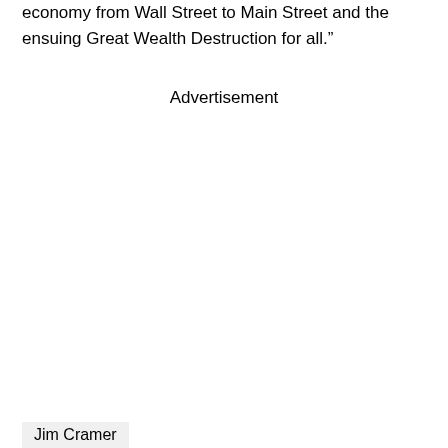economy from Wall Street to Main Street and the ensuing Great Wealth Destruction for all.”
Advertisement
Jim Cramer